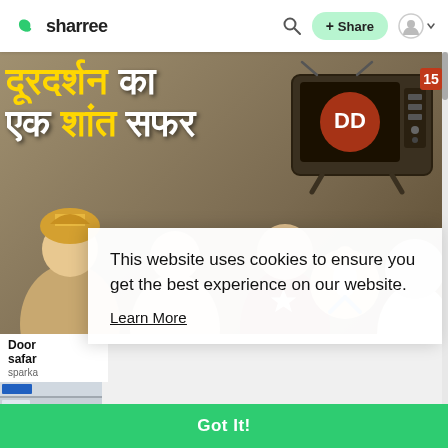sharree
[Figure (screenshot): Sharree website screenshot showing a video thumbnail with Hindi text 'Doordarshan ka ek shaant safar' with characters from old Indian TV shows, a vintage television set, and a cookie consent popup overlay saying 'This website uses cookies to ensure you get the best experience on our website. Learn More' with a green 'Got It!' button at the bottom.]
This website uses cookies to ensure you get the best experience on our website.
Learn More
Got It!